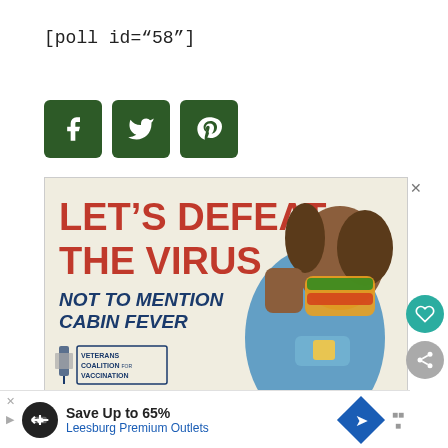[poll id="58"]
[Figure (other): Social media share buttons: Facebook (f), Twitter (bird), Pinterest (p) — dark green square buttons]
[Figure (other): Advertisement banner: 'LET'S DEFEAT THE VIRUS NOT TO MENTION CABIN FEVER' with woman flexing arm wearing colorful mask and bandage, Veterans Coalition for Vaccination logo, 'DON'T WAIT. VACCINATE.' text]
[Figure (other): Bottom advertisement: Save Up to 65% - Leesburg Premium Outlets with navigation arrow icon]